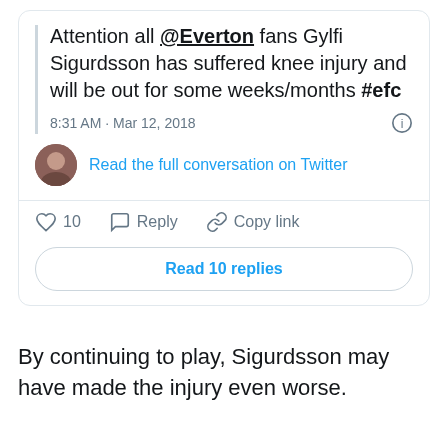[Figure (screenshot): Embedded tweet screenshot showing: 'Attention all @Everton fans Gylfi Sigurdsson has suffered knee injury and will be out for some weeks/months #efc' posted at 8:31 AM · Mar 12, 2018, with a 'Read the full conversation on Twitter' link, like/reply/copy-link actions bar showing 10 likes, and a 'Read 10 replies' button.]
By continuing to play, Sigurdsson may have made the injury even worse.